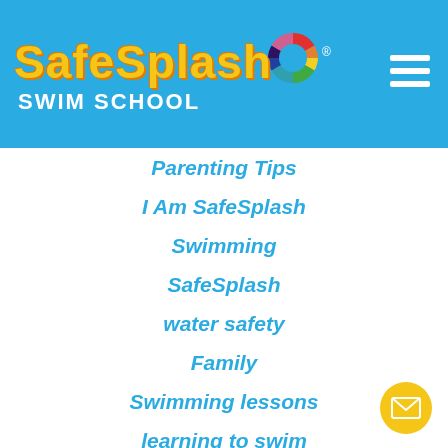[Figure (logo): SafeSplash Swim School logo with yellow text on blue background and colorful life ring icon]
Parenting Tips
I Am SafeSplash
Swimming
SafeSplash
water safety
Family
Swimming lessons
learning to swim
Kids Swimming Lessons
Swimming tips from an instructor
SafeSplash Swim School
Children's Swimming
kids swim lessons